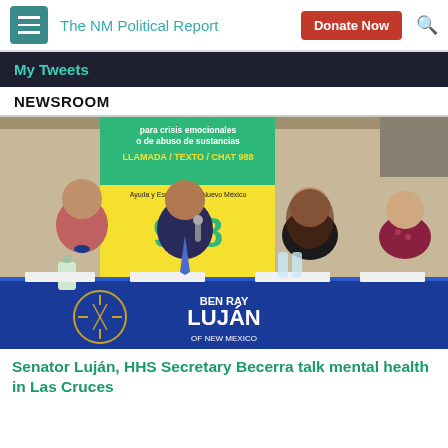The NM Political Report | Donate Now
My Tweets
NEWSROOM
[Figure (photo): Panel discussion with Senator Ben Ray Luján and HHS Secretary Becerra at a table with a Ben Ray Luján New Mexico banner, and a 988 crisis hotline banner in the background. Four people are seated at a blue-draped table.]
Senator Luján, HHS Secretary Becerra talk mental health in Las Cruces